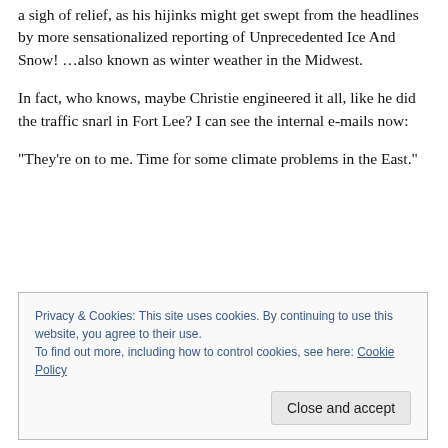a sigh of relief, as his hijinks might get swept from the headlines by more sensationalized reporting of Unprecedented Ice And Snow!  …also known as winter weather in the Midwest.
In fact, who knows, maybe Christie engineered it all, like he did the traffic snarl in Fort Lee?  I can see the internal e-mails now:
“They’re on to me.  Time for some climate problems in the East.”
Privacy & Cookies: This site uses cookies. By continuing to use this website, you agree to their use.
To find out more, including how to control cookies, see here: Cookie Policy